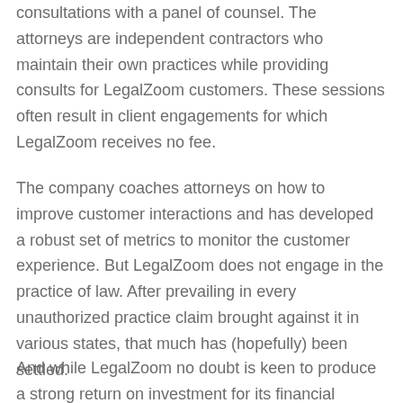consultations with a panel of counsel. The attorneys are independent contractors who maintain their own practices while providing consults for LegalZoom customers. These sessions often result in client engagements for which LegalZoom receives no fee.
The company coaches attorneys on how to improve customer interactions and has developed a robust set of metrics to monitor the customer experience. But LegalZoom does not engage in the practice of law. After prevailing in every unauthorized practice claim brought against it in various states, that much has (hopefully) been settled.
And while LegalZoom no doubt is keen to produce a strong return on investment for its financial backers and stakeholders, its focus is